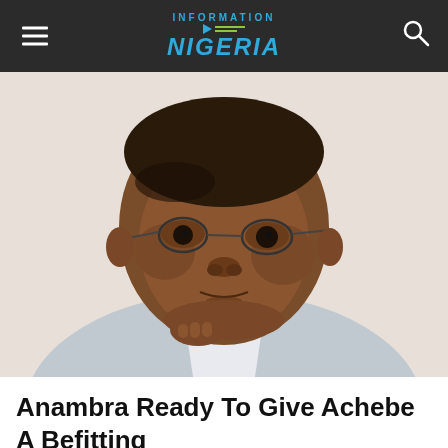INFORMATION NIGERIA
[Figure (photo): Portrait of a middle-aged Black man wearing wire-rimmed glasses and a light grey suit jacket, looking directly at the camera with a serious expression, chin resting slightly on hand.]
Anambra Ready To Give Achebe A Befitting Burial, Says Chi...